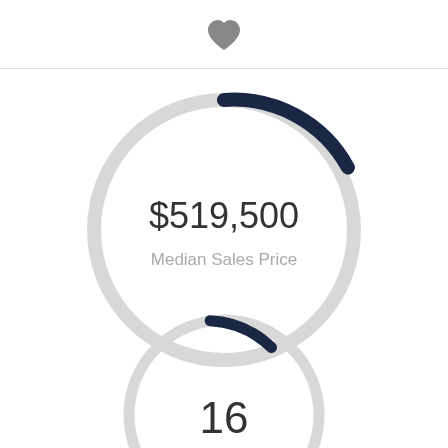[Figure (donut-chart): Median Sales Price]
[Figure (donut-chart): ]